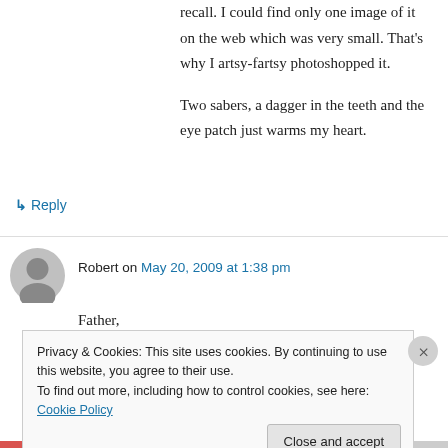recall. I could find only one image of it on the web which was very small. That's why I artsy-fartsy photoshopped it.
Two sabers, a dagger in the teeth and the eye patch just warms my heart.
↳ Reply
Robert on May 20, 2009 at 1:38 pm
Father,
Privacy & Cookies: This site uses cookies. By continuing to use this website, you agree to their use.
To find out more, including how to control cookies, see here: Cookie Policy
Close and accept